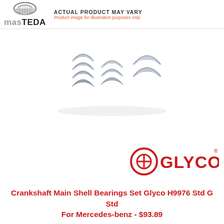[Figure (logo): masTEDA logo with stylized brake/engine part icon above, grey and black text]
ACTUAL PRODUCT MAY VARY
Product image for illustration purposes only
[Figure (photo): Crankshaft main shell bearings set, multiple semi-circular metal bearing shells arranged in a group on white background]
[Figure (logo): Glyco brand logo in red with circular G symbol]
Crankshaft Main Shell Bearings Set Glyco H9976 Std G Std For Mercedes-benz - $93.89